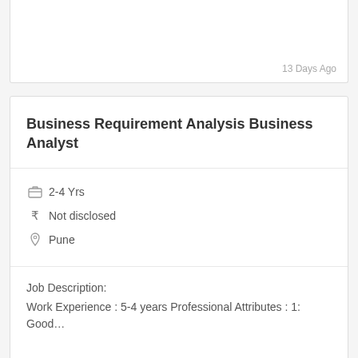13 Days Ago
Business Requirement Analysis Business Analyst
2-4 Yrs
₹ Not disclosed
Pune
Job Description:
Work Experience : 5-4 years Professional Attributes : 1: Good…
13 Days Ago